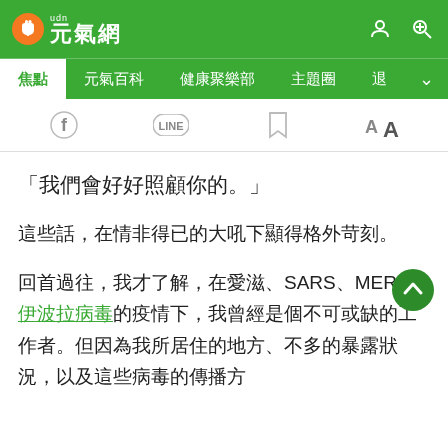[Figure (screenshot): UDN 元氣網 website header with green navigation bar showing logo, navigation items (焦點, 元氣百科, 健康聚樂部, 主題圈, 退), and social sharing icons (Facebook, LINE, bookmark, AA font size)]
「我們會好好照顧你的。」
這些話，在情非得已的大吼下顯得格外苛刻。
回首過往，我才了解，在愛滋、SARS、MERS和伊波拉病毒的疫情下，我曾經是個不可或缺的工作者。但因為我所居住的地方、不多的暴露狀況，以及這些病毒的傳播方